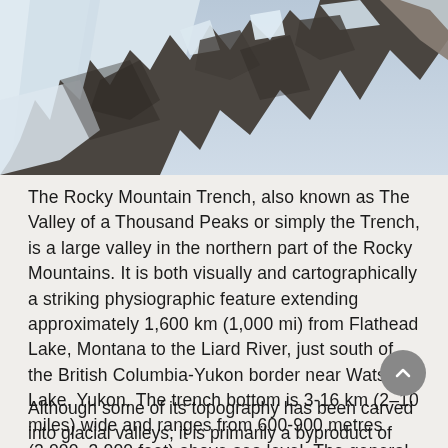[Figure (photo): Aerial or close-up photo of a snowy mountain ridge with rocky outcrops and snow-covered slopes under overcast sky.]
The Rocky Mountain Trench, also known as The Valley of a Thousand Peaks or simply the Trench, is a large valley in the northern part of the Rocky Mountains. It is both visually and cartographically a striking physiographic feature extending approximately 1,600 km (1,000 mi) from Flathead Lake, Montana to the Liard River, just south of the British Columbia-Yukon border near Watson Lake, Yukon. The trench bottom is 3-16 km (2–10 miles) wide and ranges from 600-900 metres (2,000–3,000 feet) above sea level. The general orientation of the Trench is an almost uniform 150/330 degree geographic north vector and has become convenient for north/south aviators.
Although some of its topography has been carved into glacial valleys, it is primarily a byproduct of faulting. The